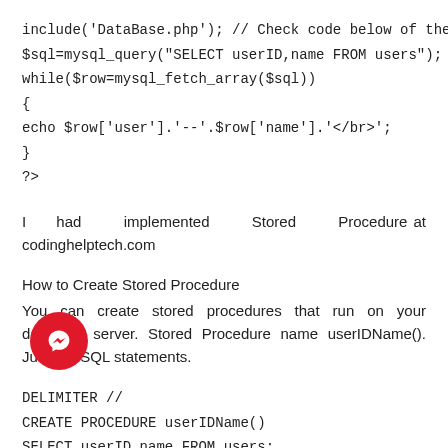include('DataBase.php'); // Check code below of the post.
$sql=mysql_query("SELECT userID,name FROM users");
while($row=mysql_fetch_array($sql))
{
echo $row['user'].'--'.$row['name'].'</br>';
}
?>
I had implemented Stored Procedure at codinghelptech.com
How to Create Stored Procedure
You can create stored procedures that run on your database server. Stored Procedure name userIDName(). Just like SQL statements.
DELIMITER //
CREATE PROCEDURE userIDName()
SELECT userID,name FROM users;
How to Call Stored Procedure